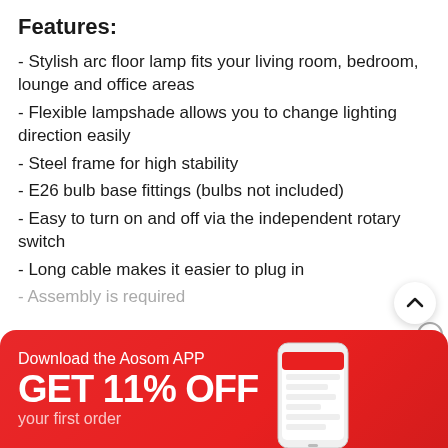Features:
- Stylish arc floor lamp fits your living room, bedroom, lounge and office areas
- Flexible lampshade allows you to change lighting direction easily
- Steel frame for high stability
- E26 bulb base fittings (bulbs not included)
- Easy to turn on and off via the independent rotary switch
- Long cable makes it easier to plug in
- Assembly is required
See More ∨
[Figure (infographic): Red promotional banner: Download the Aosom APP, GET 11% OFF your first order, with a phone screenshot mockup on the right]